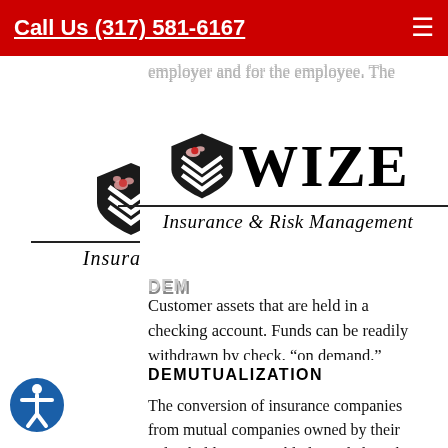Call Us (317) 581-6167
[Figure (logo): Wize Insurance & Risk Management logo with shield/bee emblem and company name]
Customer assets that are held in a checking account. Funds can be readily withdrawn by check, “on demand.”
DEMUTUALIZATION
The conversion of insurance companies from mutual companies owned by their policyholders into publicly-traded stock companies.
DEPOSITORY INSTITUTION
Financial institution that obtains its funds mainly through deposits from the public. Includes commercial banks, savings and